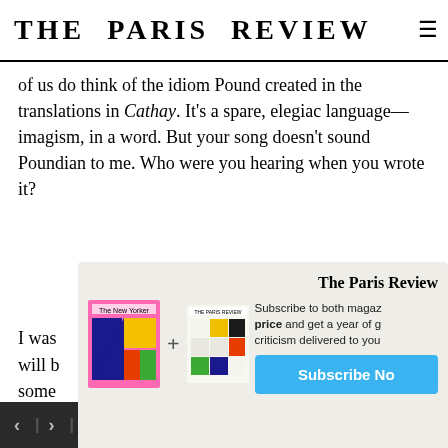THE PARIS REVIEW
of us do think of the idiom Pound created in the translations in Cathay. It's a spare, elegiac language—imagism, in a word. But your song doesn't sound Poundian to me. Who were you hearing when you wrote it?
[Figure (infographic): The Paris Review subscription advertisement showing New Yorker and Paris Review magazine covers with a plus sign, alongside 'The Paris Review' heading, subscription text, and a 'Subscribe Now' button]
I was will b some dump that, insti came to the Tennessee reading, and I asked him afterward whether he thought what I had done was in a
< > LAST / NEXT ARTICLE    SHARE